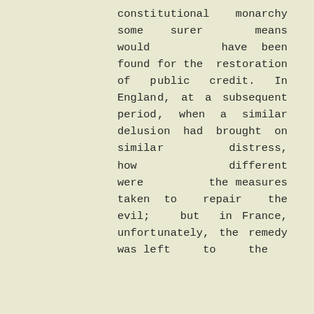constitutional monarchy some surer means would have been found for the restoration of public credit. In England, at a subsequent period, when a similar delusion had brought on similar distress, how different were the measures taken to repair the evil; but in France, unfortunately, the remedy was left to the